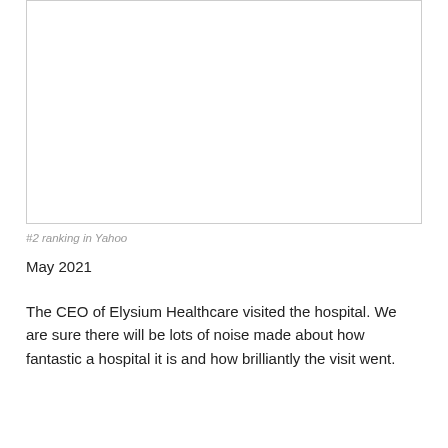[Figure (other): Empty bordered box representing a screenshot or image placeholder]
#2 ranking in Yahoo
May 2021
The CEO of Elysium Healthcare visited the hospital. We are sure there will be lots of noise made about how fantastic a hospital it is and how brilliantly the visit went.